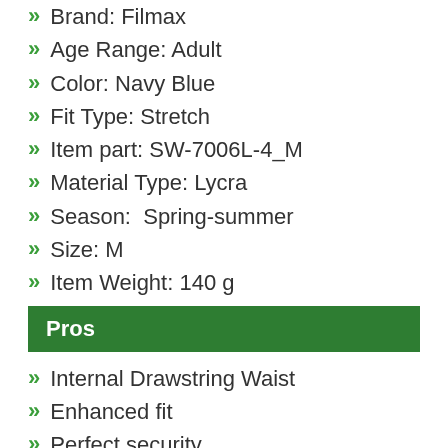Brand: Filmax
Age Range: Adult
Color: Navy Blue
Fit Type: Stretch
Item part: SW-7006L-4_M
Material Type: Lycra
Season:  Spring-summer
Size: M
Item Weight: 140 g
Pros
Internal Drawstring Waist
Enhanced fit
Perfect security
100% chlorine resistant